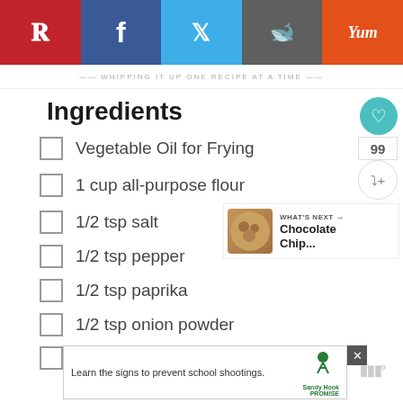Pinterest | Facebook | Twitter | Reddit | Yummly social share bar
WHIPPING IT UP ONE RECIPE AT A TIME
Ingredients
Vegetable Oil for Frying
1 cup all-purpose flour
1/2 tsp salt
1/2 tsp pepper
1/2 tsp paprika
1/2 tsp onion powder
1/2 tsp garlic powder
WHAT'S NEXT → Chocolate Chip...
Learn the signs to prevent school shootings. Sandy Hook Promise